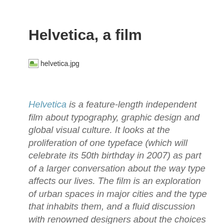Helvetica, a film
[Figure (photo): Broken image placeholder labeled helvetica.jpg]
Helvetica is a feature-length independent film about typography, graphic design and global visual culture. It looks at the proliferation of one typeface (which will celebrate its 50th birthday in 2007) as part of a larger conversation about the way type affects our lives. The film is an exploration of urban spaces in major cities and the type that inhabits them, and a fluid discussion with renowned designers about the choices and aesthetics behind their use of type.